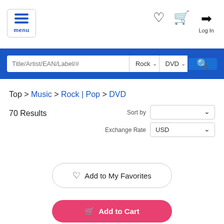[Figure (screenshot): Navigation header with menu button (three horizontal blue lines + 'menu' label), heart icon, shopping cart icon, and login arrow icon with 'Log In' label]
[Figure (screenshot): Search bar with text input 'Title/Artist/EAN/Label/#', genre dropdown 'Rock', format dropdown 'DVD', and blue search button with magnifying glass icon, all on a blue background]
Top > Music > Rock | Pop > DVD
70 Results
Sort by
Exchange Rate  USD
[Figure (screenshot): Button: heart icon + 'Add to My Favorites', rounded pill shape with gray border]
[Figure (screenshot): Button: cart icon + 'Add to Cart', rounded pill shape with red/pink background]